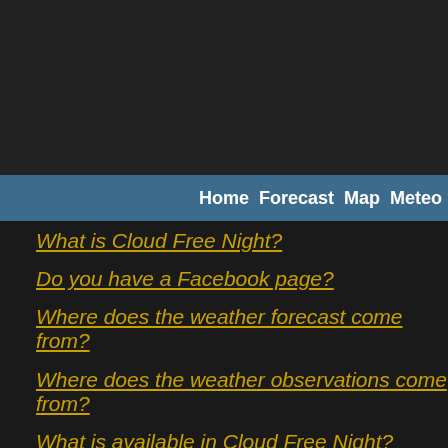Home  Forecast  Map  Meteo
What is Cloud Free Night?
Do you have a Facebook page?
Where does the weather forecast come from?
Where does the weather observations come from?
What is available in Cloud Free Night?
What is the ACCESS model?
When are ACCESS model forecasts updated?
What is the GFS model?
When are GFS model forecasts updated?